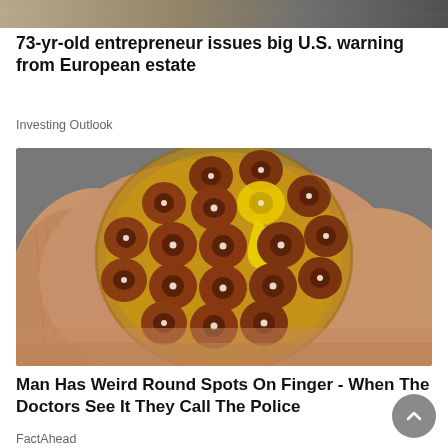[Figure (photo): Partial view of first article image at top of page, cropped]
73-yr-old entrepreneur issues big U.S. warning from European estate
Investing Outlook
[Figure (photo): Close-up macro photo of a fingertip with round spotted pattern embedded in it, showing multiple dark round spots with white centers arranged in a cluster, on a blurred gray background]
Man Has Weird Round Spots On Finger - When The Doctors See It They Call The Police
FactAhead